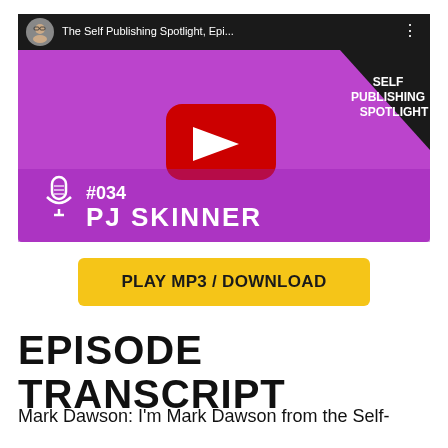[Figure (screenshot): YouTube video thumbnail for The Self Publishing Spotlight, Episode #034 with PJ Skinner. Purple background, YouTube play button, microphone icon, episode number and guest name shown. Black triangle in top right with 'SELF PUBLISHING SPOTLIGHT' text.]
PLAY MP3 / DOWNLOAD
EPISODE TRANSCRIPT
Mark Dawson: I'm Mark Dawson from the Self-